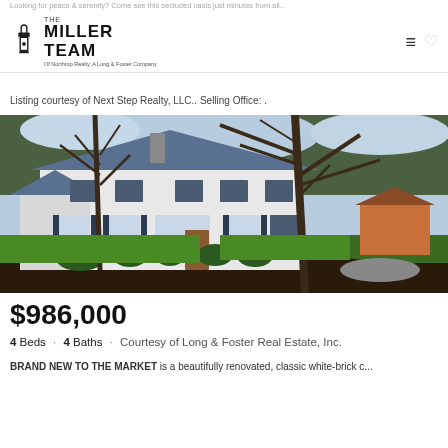THE MILLER TEAM Of Northrop Realty, A Long & Foster Company
Listing courtesy of Next Step Realty, LLC.. Selling Office: .
[Figure (photo): Exterior photo of a classic white two-story colonial home with dark shutters, surrounded by bare trees and green lawn with mulched landscaping beds]
$986,000
4 Beds · 4 Baths · Courtesy of Long & Foster Real Estate, Inc.
BRAND NEW TO THE MARKET is a beautifully renovated, classic white-brick c...